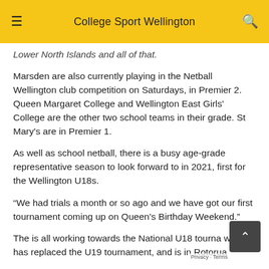College Sport Wellington
Lower North Islands and all of that.
Marsden are also currently playing in the Netball Wellington club competition on Saturdays, in Premier 2. Queen Margaret College and Wellington East Girls' College are the other two school teams in their grade. St Mary's are in Premier 1.
As well as school netball, there is a busy age-grade representative season to look forward to in 2021, first for the Wellington U18s.
“We had trials a month or so ago and we have got our first tournament coming up on Queen’s Birthday Weekend.”
The is all working towards the National U18 tourna which has replaced the U19 tournament, and is in Rotorua